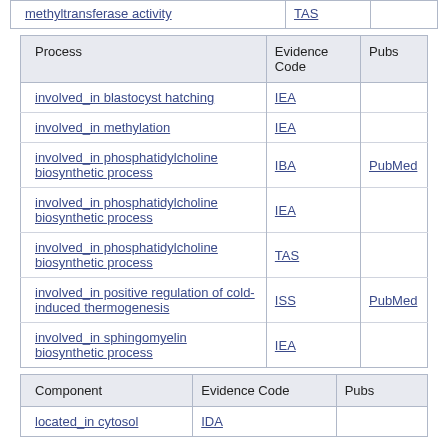|  | TAS |  |
| --- | --- | --- |
| methyltransferase activity | TAS |  |
| Process | Evidence Code | Pubs |
| --- | --- | --- |
| involved_in blastocyst hatching | IEA |  |
| involved_in methylation | IEA |  |
| involved_in phosphatidylcholine biosynthetic process | IBA | PubMed |
| involved_in phosphatidylcholine biosynthetic process | IEA |  |
| involved_in phosphatidylcholine biosynthetic process | TAS |  |
| involved_in positive regulation of cold-induced thermogenesis | ISS | PubMed |
| involved_in sphingomyelin biosynthetic process | IEA |  |
| Component | Evidence Code | Pubs |
| --- | --- | --- |
| located_in cytosol | IDA |  |